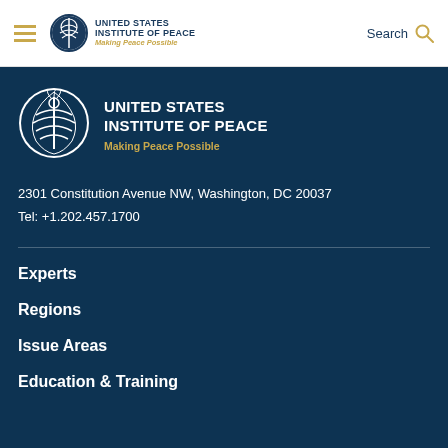United States Institute of Peace — Making Peace Possible
[Figure (logo): United States Institute of Peace circular logo with tree/figure emblem, shown in dark blue section]
UNITED STATES INSTITUTE OF PEACE
Making Peace Possible
2301 Constitution Avenue NW, Washington, DC 20037
Tel: +1.202.457.1700
Experts
Regions
Issue Areas
Education & Training